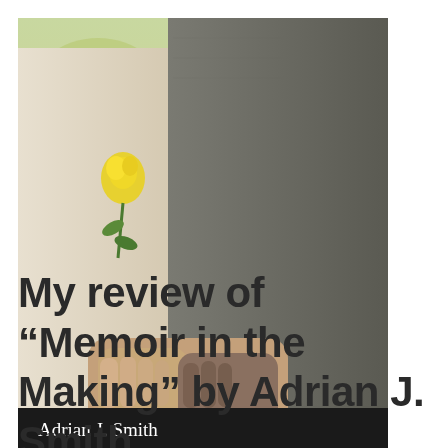[Figure (photo): Book cover of 'Memoir in the Making' by Adrian J. Smith. Shows two people holding hands, one in white clothing holding a yellow rose, the other in a grey tweed jacket. Black banner at bottom with author name in white and title in green text.]
My review of “Memoir in the Making” by Adrian J. Smith